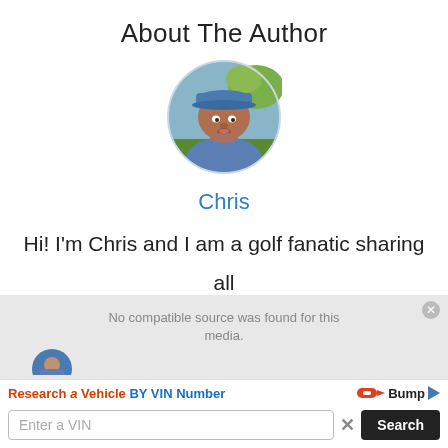About The Author
[Figure (photo): Circular profile photo of a man named Chris wearing a blue cap and blue polo shirt, outdoors with green trees in the background.]
Chris
Hi! I'm Chris and I am a golf fanatic sharing all the info I can to save you a few bucks and improve your game! Talk Soon
[Figure (screenshot): Ad overlay with media error message 'No compatible source was found for this media.' and a vehicle VIN lookup advertisement for Bump with an Enter a VIN input field and Search button.]